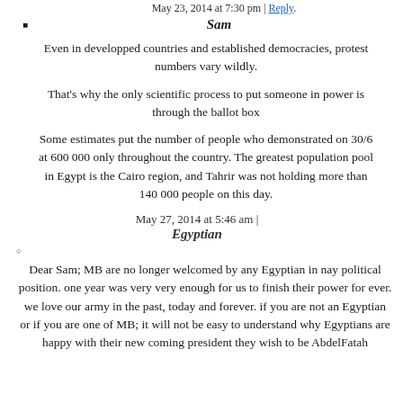May 23, 2014 at 7:30 pm | Reply
Sam
Even in developped countries and established democracies, protest numbers vary wildly.
That's why the only scientific process to put someone in power is through the ballot box
Some estimates put the number of people who demonstrated on 30/6 at 600 000 only throughout the country. The greatest population pool in Egypt is the Cairo region, and Tahrir was not holding more than 140 000 people on this day.
May 27, 2014 at 5:46 am |
Egyptian
Dear Sam; MB are no longer welcomed by any Egyptian in nay political position. one year was very very enough for us to finish their power for ever. we love our army in the past, today and forever. if you are not an Egyptian or if you are one of MB; it will not be easy to understand why Egyptians are happy with their new coming president they wish to be AbdelFatah